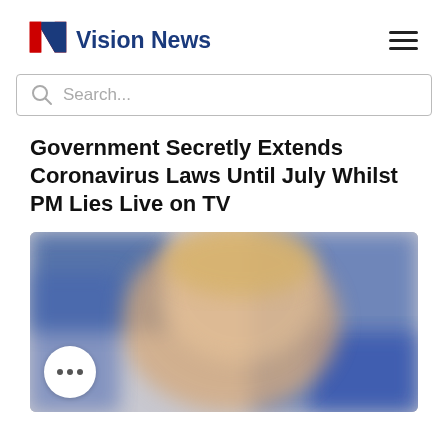[Figure (logo): Vision News logo with stylized N in red and blue, and bold blue 'Vision News' text]
Search...
Government Secretly Extends Coronavirus Laws Until July Whilst PM Lies Live on TV
[Figure (photo): Blurred photograph, appears to show a person with blonde hair with blue background elements, with a three-dot menu button overlay]